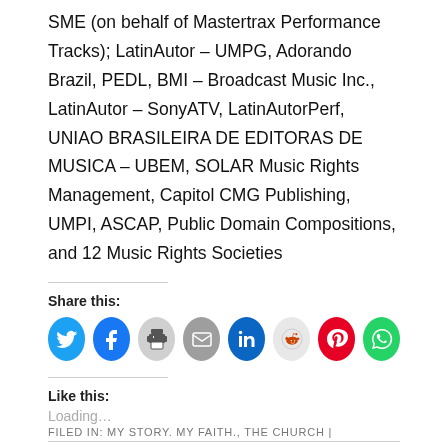SME (on behalf of Mastertrax Performance Tracks); LatinAutor – UMPG, Adorando Brazil, PEDL, BMI – Broadcast Music Inc., LatinAutor – SonyATV, LatinAutorPerf, UNIAO BRASILEIRA DE EDITORAS DE MUSICA – UBEM, SOLAR Music Rights Management, Capitol CMG Publishing, UMPI, ASCAP, Public Domain Compositions, and 12 Music Rights Societies
Share this:
[Figure (infographic): Row of social media sharing icon circles: Twitter (blue), Facebook (blue), Print (gray), Email (gray), LinkedIn (dark blue), Reddit (light gray), Pinterest (red), WhatsApp (green)]
Like this:
Loading...
FILED IN: MY STORY. MY FAITH., THE CHURCH |